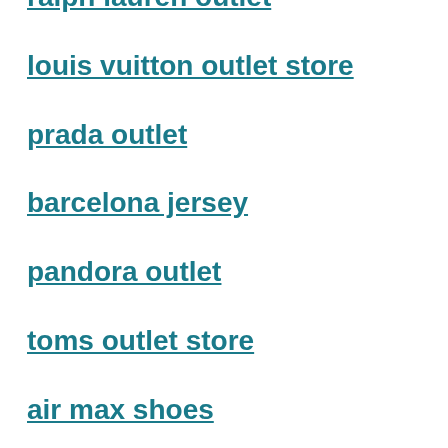ralph lauren outlet
louis vuitton outlet store
prada outlet
barcelona jersey
pandora outlet
toms outlet store
air max shoes
coach factory outlet online
adidas nmd runner